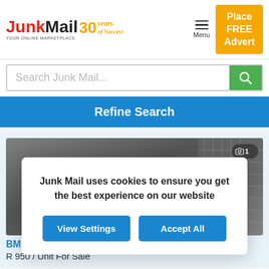[Figure (screenshot): Junk Mail 30 Years of Success logo - YOUR ONLINE MARKETPLACE tagline]
Menu
Place FREE Advert
Search Junk Mail...
Refine Search
[Figure (photo): Photo of engine piston and connecting rod parts on grey background, with photo counter showing 1]
BM
R 950 / Unit For Sale
Junk Mail uses cookies to ensure you get the best experience on our website
View Settings
Accept All